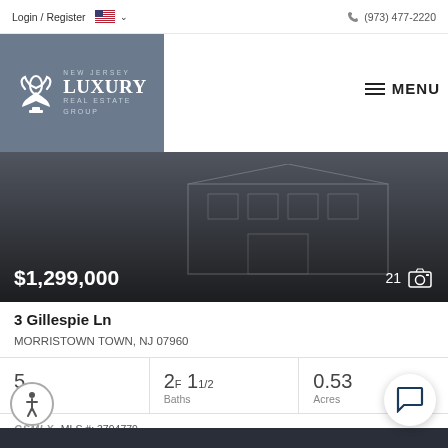Login / Register   (973) 477-2220
[Figure (logo): New Jersey Luxury Real Estate Group logo with fleur-de-lis icon on grey background]
[Figure (photo): Dark real estate property listing hero image showing a large house outline]
$1,299,000    21 photos
3 Gillespie Ln
MORRISTOWN TOWN, NJ 07960
| Beds | Baths | Acres |
| --- | --- | --- |
| 5 | 2F 11/2 | 0.53 |
GSMLX  MLS #: 3794779